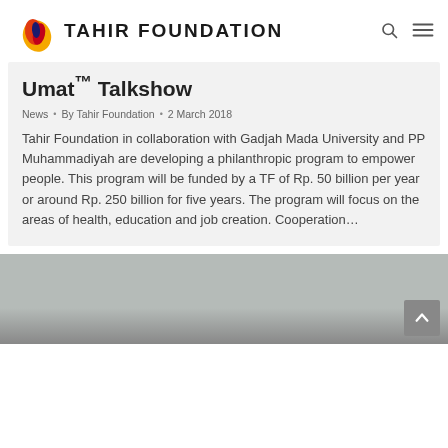Tahir Foundation
Umat™ Talkshow
News • By Tahir Foundation • 2 March 2018
Tahir Foundation in collaboration with Gadjah Mada University and PP Muhammadiyah are developing a philanthropic program to empower people. This program will be funded by a TF of Rp. 50 billion per year or around Rp. 250 billion for five years. The program will focus on the areas of health, education and job creation. Cooperation…
[Figure (photo): Partial photo strip at the bottom of the card, showing a gray background with a scroll-to-top button.]